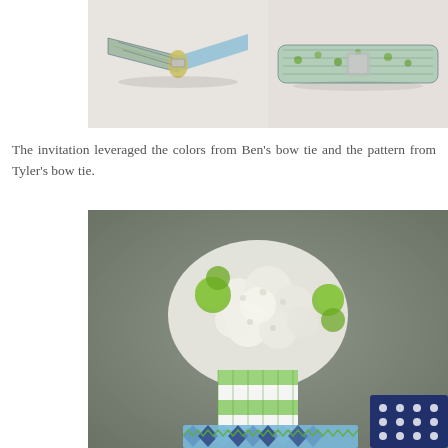[Figure (photo): Two photographs side by side of fabric bow ties with blue, green, and navy argyle/geometric patterns on a light surface]
The invitation leveraged the colors from Ben's bow tie and the pattern from Tyler's bow tie.
[Figure (photo): Close-up photograph of white hydrangea and green flowers in a vase wrapped with green gingham ribbon, with an argyle-patterned card visible at the bottom and a navy polka-dot box to the right]